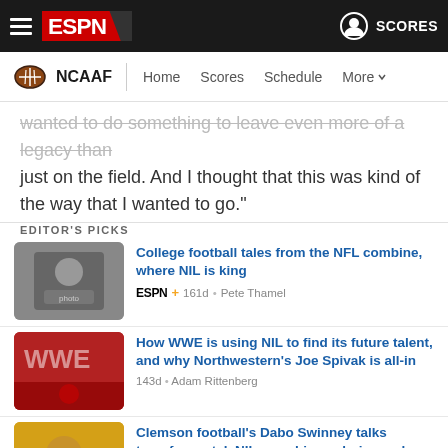ESPN NCAAF - Home Scores Schedule More
wanted to do something to leave even more of a legacy than just on the field. And I thought that this was kind of the way that I wanted to go."
EDITOR'S PICKS
[Figure (photo): Thumbnail image of person at NFL combine]
College football tales from the NFL combine, where NIL is king
ESPN+ 161d • Pete Thamel
[Figure (photo): Thumbnail image of WWE/Northwestern NIL article]
How WWE is using NIL to find its future talent, and why Northwestern's Joe Spivak is all-in
143d • Adam Rittenberg
[Figure (photo): Thumbnail image of Dabo Swinney]
Clemson football's Dabo Swinney talks transfer portal, NIL, coaching salaries and winning his way
132d • Chris Low